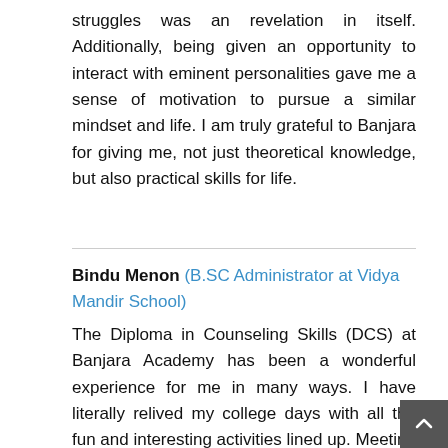struggles was an revelation in itself. Additionally, being given an opportunity to interact with eminent personalities gave me a sense of motivation to pursue a similar mindset and life. I am truly grateful to Banjara for giving me, not just theoretical knowledge, but also practical skills for life.
Bindu Menon (B.SC Administrator at Vidya Mandir School)
The Diploma in Counseling Skills (DCS) at Banjara Academy has been a wonderful experience for me in many ways. I have literally relived my college days with all the fun and interesting activities lined up. Meeting individuals from varied age groups was the best and the most unique experience. Institutional visits helped me